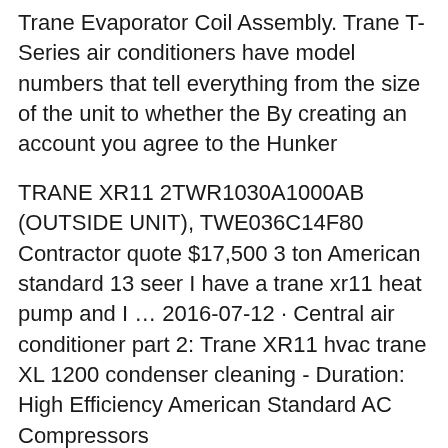Trane Evaporator Coil Assembly. Trane T-Series air conditioners have model numbers that tell everything from the size of the unit to whether the By creating an account you agree to the Hunker
TRANE XR11 2TWR1030A1000AB (OUTSIDE UNIT), TWE036C14F80 Contractor quote $17,500 3 ton American standard 13 seer I have a trane xr11 heat pump and I … 2016-07-12 · Central air conditioner part 2: Trane XR11 hvac trane XL 1200 condenser cleaning - Duration: High Efficiency American Standard AC Compressors
Dehumidification in HVAC Systems